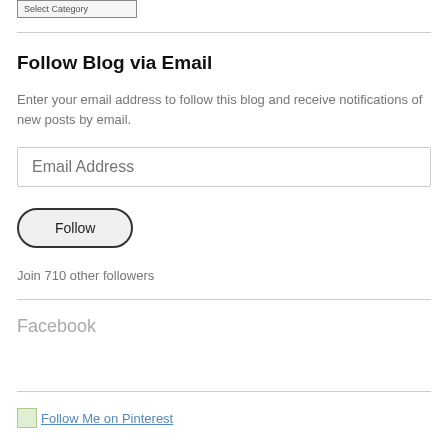[Figure (other): Select Category dropdown button at top of sidebar]
Follow Blog via Email
Enter your email address to follow this blog and receive notifications of new posts by email.
Email Address
Follow
Join 710 other followers
Facebook
Follow Me on Pinterest